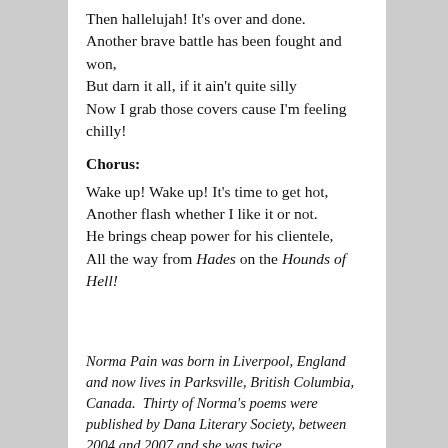Then hallelujah! It's over and done. Another brave battle has been fought and won, But darn it all, if it ain't quite silly Now I grab those covers cause I'm feeling chilly!
Chorus:
Wake up! Wake up! It's time to get hot, Another flash whether I like it or not. He brings cheap power for his clientele, All the way from Hades on the Hounds of Hell!
Norma Pain was born in Liverpool, England and now lives in Parksville, British Columbia, Canada. Thirty of Norma's poems were published by Dana Literary Society, between 2004 and 2007 and she was twice